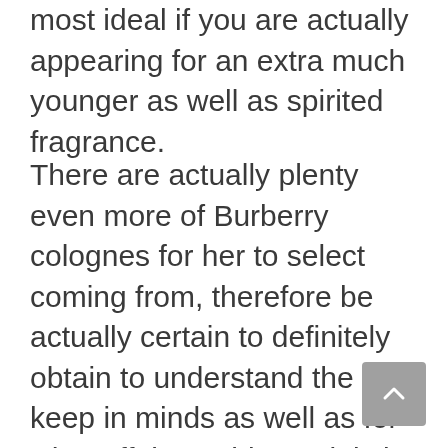most ideal if you are actually appearing for an extra much younger as well as spirited fragrance.
There are actually plenty even more of Burberry colognes for her to select coming from, therefore be actually certain to definitely obtain to understand the keep in minds as well as for what affair would certainly be actually the fragrance that you are actually appearing for.